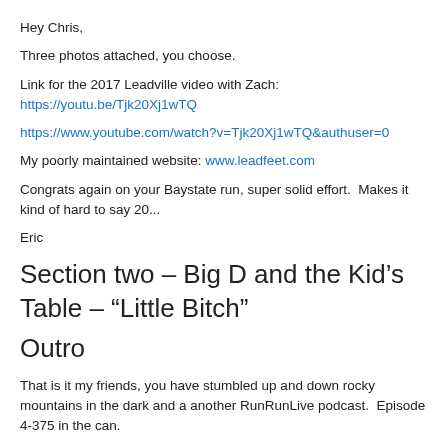Hey Chris,
Three photos attached, you choose.
Link for the 2017 Leadville video with Zach:  https://youtu.be/Tjk20Xj1wTQ
https://www.youtube.com/watch?v=Tjk20Xj1wTQ&authuser=0
My poorly maintained website: www.leadfeet.com
Congrats again on your Baystate run, super solid effort.  Makes it kind of hard to say 20...
Eric
Section two – Big D and the Kid’s Table – “Little Bitch”
Outro
That is it my friends, you have stumbled up and down rocky mountains in the dark and a another RunRunLive podcast.  Episode 4-375 in the can.
I’ve got a seasonal recipe idea for you.  This time of year there are lots of apples where make Apple sauce.
Preheat your oven to 200-250.  Yes low heat.  Good for drying pumpkin seeds too!